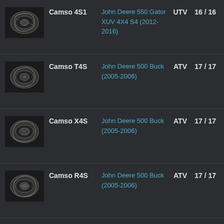| Image | Product | Vehicle | Type | Count |
| --- | --- | --- | --- | --- |
| [img] | Camso 4S1 | John Deere 550 Gator XUV 4X4 S4 (2012-2016) | UTV | 16 / 16 |
| [img] | Camso T4S | John Deere 500 Buck (2005-2006) | ATV | 17 / 17 |
| [img] | Camso X4S | John Deere 500 Buck (2005-2006) | ATV | 17 / 17 |
| [img] | Camso R4S | John Deere 500 Buck (2005-2006) | ATV | 17 / 17 |
| [img] | Camso T4S | John Deere ... | ATV | 17 / 17 |